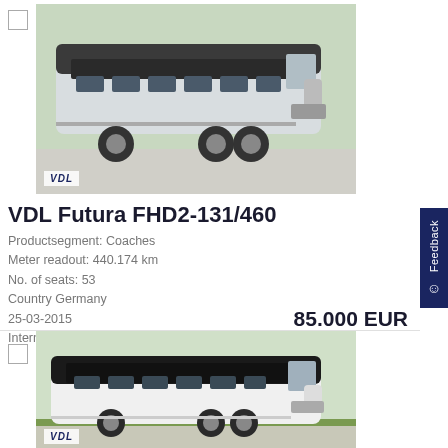[Figure (photo): Silver VDL Futura FHD2-131/460 coach bus parked on a lot, three-quarter front view, with VDL logo watermark at bottom left]
VDL Futura FHD2-131/460
Productsegment: Coaches
Meter readout: 440.174 km
No. of seats: 53
Country Germany
25-03-2015
Internal stock no. 53215
85.000 EUR
[Figure (photo): White VDL coach bus parked on a lot, three-quarter front view, with VDL logo watermark at bottom left]